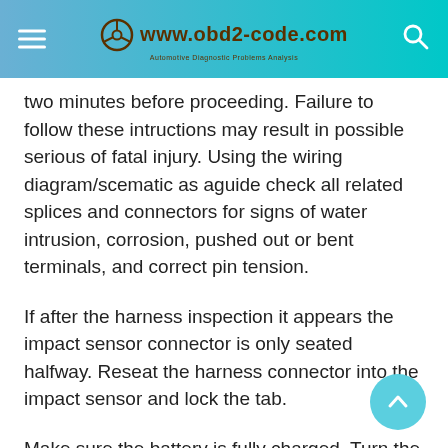www.obd2-code.com
two minutes before proceeding. Failure to follow these intructions may result in possible serious of fatal injury. Using the wiring diagram/scematic as aguide check all related splices and connectors for signs of water intrusion, corrosion, pushed out or bent terminals, and correct pin tension.
If after the harness inspection it appears the impact sensor connector is only seated halfway. Reseat the harness connector into the impact sensor and lock the tab.
Make sure the battery is fully charged. Turn the ignition on. With the scan tool, read ORC DTC.
Does the scan tool display active U0175-2